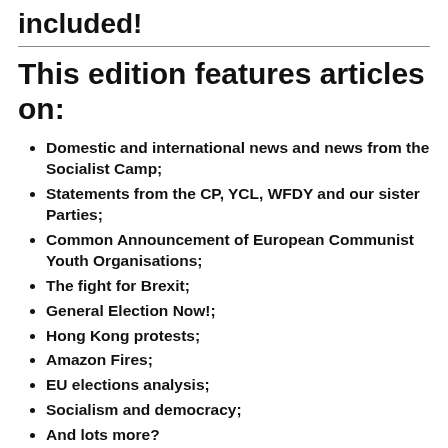included!
This edition features articles on:
Domestic and international news and news from the Socialist Camp;
Statements from the CP, YCL, WFDY and our sister Parties;
Common Announcement of European Communist Youth Organisations;
The fight for Brexit;
General Election Now!;
Hong Kong protests;
Amazon Fires;
EU elections analysis;
Socialism and democracy;
And lots more?